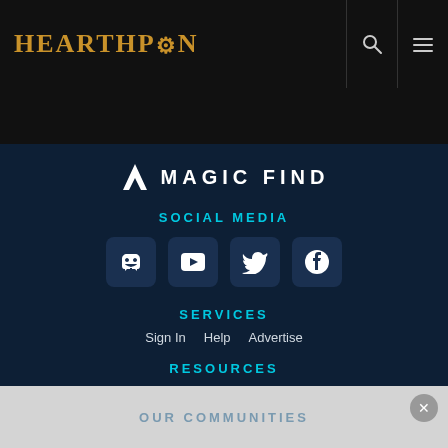HearthPwn
[Figure (logo): Magic Find logo with stylized M icon]
SOCIAL MEDIA
[Figure (infographic): Social media icons: Discord, YouTube, Twitter, Facebook]
SERVICES
Sign In   Help   Advertise
RESOURCES
Terms of Service   Privacy Policy
OUR COMMUNITIES